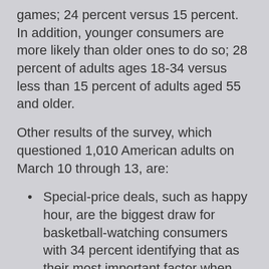games; 24 percent versus 15 percent. In addition, younger consumers are more likely than older ones to do so; 28 percent of adults ages 18-34 versus less than 15 percent of adults aged 55 and older.
Other results of the survey, which questioned 1,010 American adults on March 10 through 13, are:
Special-price deals, such as happy hour, are the biggest draw for basketball-watching consumers with 34 percent identifying that as their most important factor when choosing a restaurant or bar for the basketball games.
Twenty-five percent say they look for the best selection of televisions when choosing where to go.